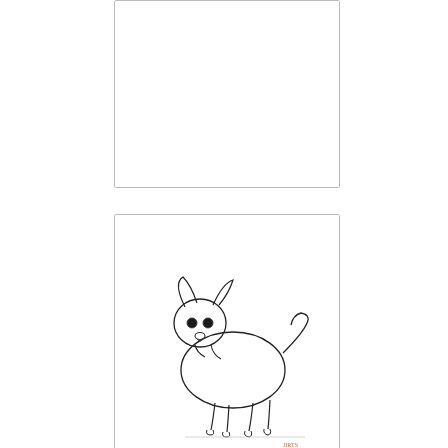[Figure (illustration): Empty white card/box with a thin border — top card, blank]
[Figure (illustration): Line drawing illustration of a Chihuahua dog standing in profile, facing left, with alert ears and a curled tail. Minimal coloring, pen/pencil style art. Small artist signature in the lower right corner.]
[Figure (illustration): Card showing 'April Fools' Day' text at the top and a line drawing of an open book at the bottom.]